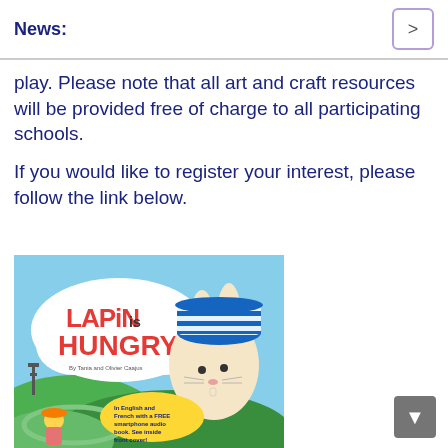News:
play. Please note that all art and craft resources will be provided free of charge to all participating schools.
If you would like to register your interest, please follow the link below.
[Figure (illustration): Book cover of 'Lapin is Hungry' by Tania and Olivier Coajas, featuring a cartoon rabbit character wearing a blue and white striped hat, with Paris in the background. Text on cover: 'In English and French with a FREE smartphone audio book. See inside front cover!']